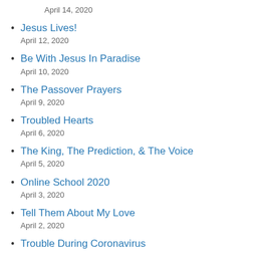April 14, 2020
Jesus Lives!
April 12, 2020
Be With Jesus In Paradise
April 10, 2020
The Passover Prayers
April 9, 2020
Troubled Hearts
April 6, 2020
The King, The Prediction, & The Voice
April 5, 2020
Online School 2020
April 3, 2020
Tell Them About My Love
April 2, 2020
Trouble During Coronavirus